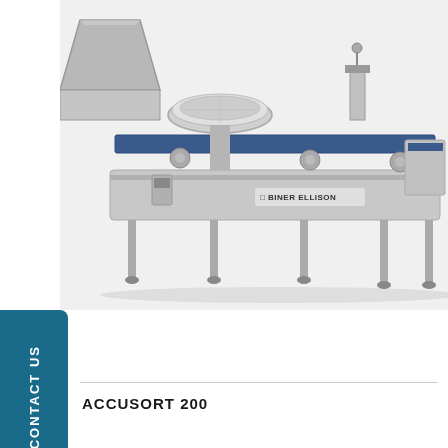[Figure (photo): Industrial Accusort 200 sorting machine by Biner Ellison — a large stainless steel conveyor and sorting system with a hopper on the left, a circular bowl feeder in the center, and a long conveyor belt running to the right. The Biner Ellison logo is visible on the side of the machine.]
CONTACT US
ACCUSORT 200